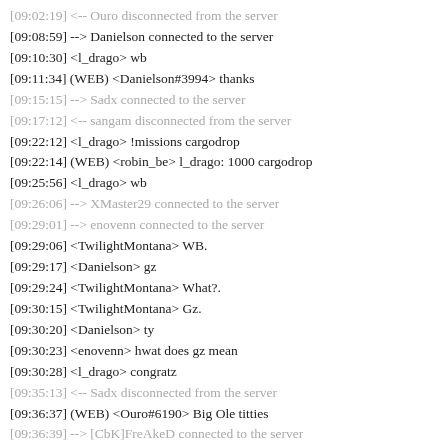[09:02:19] <-- Ouro disconnected from the server
[09:08:59] --> Danielson connected to the server
[09:10:30] <l_drago> wb
[09:11:34] (WEB) <Danielson#3994> thanks
[09:15:15] --> Sadx connected to the server
[09:17:12] <-- sangam disconnected from the server
[09:22:12] <l_drago> !missions cargodrop
[09:22:14] (WEB) <robin_be> l_drago: 1000 cargodrop
[09:25:56] <l_drago> wb
[09:26:06] --> XMaster29 connected to the server
[09:29:01] --> enovenn connected to the server
[09:29:06] <TwilightMontana> WB.
[09:29:17] <Danielson> gz
[09:29:24] <TwilightMontana> What?.
[09:30:15] <TwilightMontana> Gz.
[09:30:20] <Danielson> ty
[09:30:23] <enovenn> hwat does gz mean
[09:30:28] <l_drago> congratz
[09:35:13] <-- Sadx disconnected from the server
[09:36:37] (WEB) <Ouro#6190> Big Ole titties
[09:36:39] --> [CbK]FreAkeD connected to the server
[09:36:44] <TwilightMontana> Wb.
[09:36:49] (WEB) <Ouro#6190> Wb
[09:38:01] <TwilightMontana> Project2DFX makes the game look good.